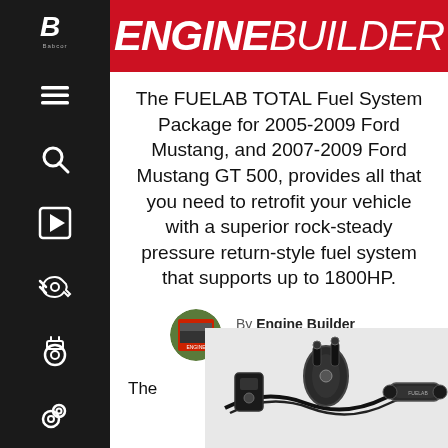ENGINE BUILDER
The FUELAB TOTAL Fuel System Package for 2005-2009 Ford Mustang, and 2007-2009 Ford Mustang GT 500, provides all that you need to retrofit your vehicle with a superior rock-steady pressure return-style fuel system that supports up to 1800HP.
By Engine Builder on Oct 19, 2015
The
[Figure (photo): FUELAB fuel system components including fuel pump, filter, and fittings with hoses]